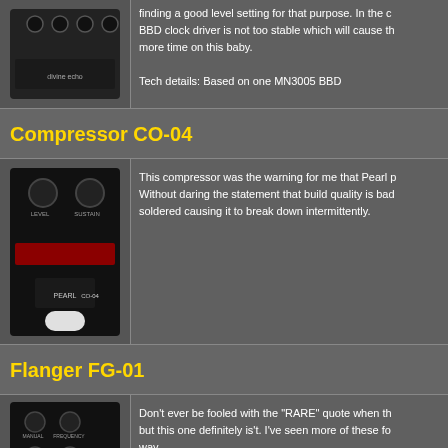finding a good level setting for that purpose. In the c BBD clock driver is not too stable which will cause th more time on this baby.

Tech details: Based on one MN3005 BBD
Compressor CO-04
[Figure (photo): Pearl Compressor CO-04 guitar pedal, black enclosure with knobs and red display strip]
This compressor was the warning for me that Pearl p Without daring the statement that build quality is bad soldered causing it to break down intermittently.
Flanger FG-01
[Figure (photo): Pearl Flanger FG-01 guitar pedal, black enclosure with knobs and blue label strip]
Don't ever be fooled with the "RARE" quote when th but this one definitely is't. I've seen more of these fo way.